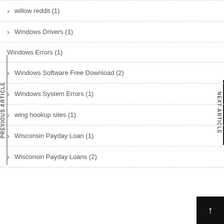willow reddit (1)
Windows Drivers (1)
Windows Errors (1)
Windows Software Free Download (2)
Windows System Errors (1)
wing hookup sites (1)
Wisconsin Payday Loan (1)
Wisconsin Payday Loans (2)